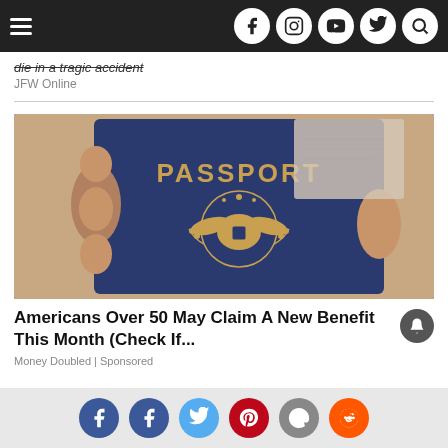Navigation bar with hamburger menu and social icons (Facebook, Instagram, YouTube, Twitter, Search)
die in a tragic accident
JFW Online
[Figure (photo): A hand holding a dark blue US PASSPORT book with gold lettering and the US eagle seal, with another document visible behind it.]
Americans Over 50 May Claim A New Benefit This Month (Check If...
Money Doubled | Sponsored
Social share buttons: Facebook, Facebook, Twitter, Pinterest, Email, Reddit